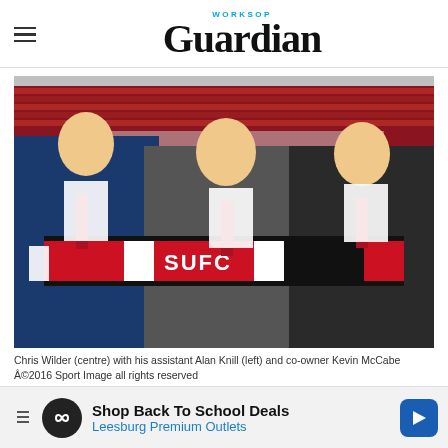Worksop Guardian
[Figure (photo): Three men in suits holding a red, white and black SUFC scarf in a football stadium. Chris Wilder (centre) with his assistant Alan Knill (left) and co-owner Kevin McCabe.]
Chris Wilder (centre) with his assistant Alan Knill (left) and co-owner Kevin McCabe ©2016 Sport Image all rights reserved
“I’m comfortable, possibly more comfortable than
ll get this
[Figure (infographic): Advertisement banner: Shop Back To School Deals - Leesburg Premium Outlets]